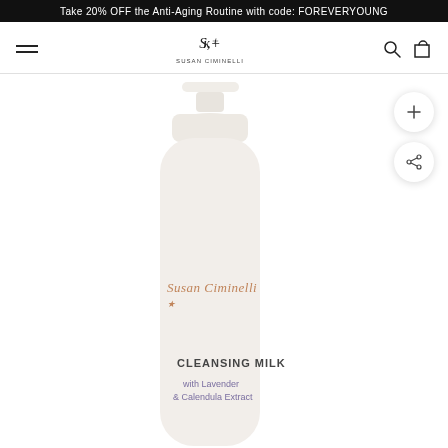Take 20% OFF the Anti-Aging Routine with code: FOREVERYOUNG
[Figure (logo): Susan Ciminelli brand logo with script text and tagline]
[Figure (photo): White pump bottle of Susan Ciminelli Cleansing Milk with Lavender & Calendula Extract]